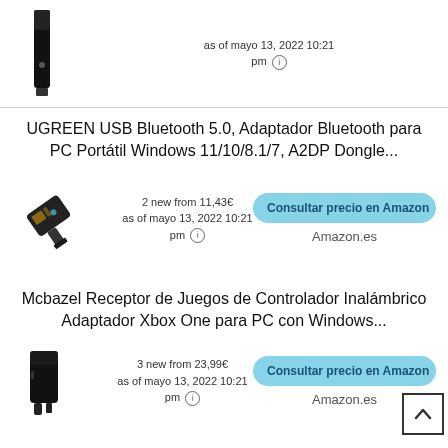[Figure (photo): Partial view of a black USB dongle/adapter product image]
as of mayo 13, 2022 10:21 pm
UGREEN USB Bluetooth 5.0, Adaptador Bluetooth para PC Portátil Windows 11/10/8.1/7, A2DP Dongle...
[Figure (photo): UGREEN USB Bluetooth 5.0 adapter, small black USB dongle angled view]
2 new from 11,43€ as of mayo 13, 2022 10:21 pm
Consultar precio en Amazon
Amazon.es
Mcbazel Receptor de Juegos de Controlador Inalámbrico Adaptador Xbox One para PC con Windows...
[Figure (photo): Black Xbox wireless adapter USB dongle]
3 new from 23,99€ as of mayo 13, 2022 10:21 pm
Consultar precio en Amazon
Amazon.es